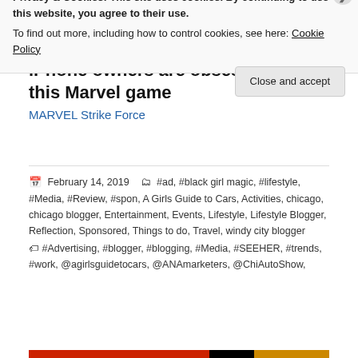[Figure (photo): Dark background advertisement banner with two groups of gold stars and a small Marvel copyright text at bottom right]
iPhone owners are obsessed with this Marvel game
MARVEL Strike Force
February 14, 2019  #ad, #black girl magic, #lifestyle, #Media, #Review, #spon, A Girls Guide to Cars, Activities, chicago, chicago blogger, Entertainment, Events, Lifestyle, Lifestyle Blogger, Reflection, Sponsored, Things to do, Travel, windy city blogger  #Advertising, #blogger, #blogging, #Media, #SEEHER, #trends, #work, @agirlsguidetocars, @ANAmarketers, @ChiAutoShow,
Privacy & Cookies: This site uses cookies. By continuing to use this website, you agree to their use.
To find out more, including how to control cookies, see here: Cookie Policy
Close and accept